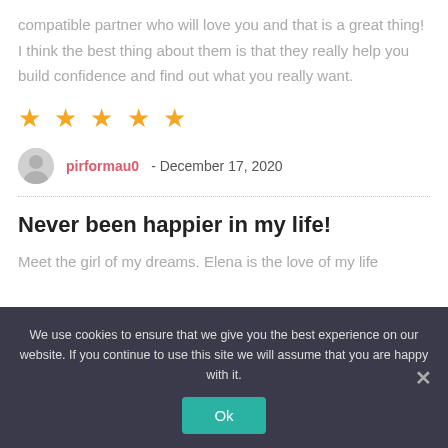compatible partner who will love you and that is a great thing! I think the best thing about them is that they really help you build confidence and find out what you really want.
[Figure (other): Five gold star rating icons]
pirformau0 - December 17, 2020
Never been happier in my life!
Meet the girl of my dreams. Elena is the love of my life
We use cookies to ensure that we give you the best experience on our website. If you continue to use this site we will assume that you are happy with it.